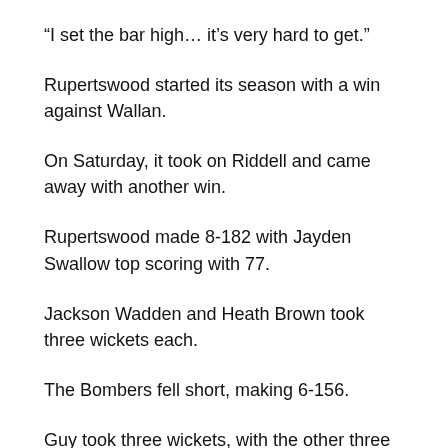“I set the bar high… it’s very hard to get.”
Rupertswood started its season with a win against Wallan.
On Saturday, it took on Riddell and came away with another win.
Rupertswood made 8-182 with Jayden Swallow top scoring with 77.
Jackson Wadden and Heath Brown took three wickets each.
The Bombers fell short, making 6-156.
Guy took three wickets, with the other three run outs.